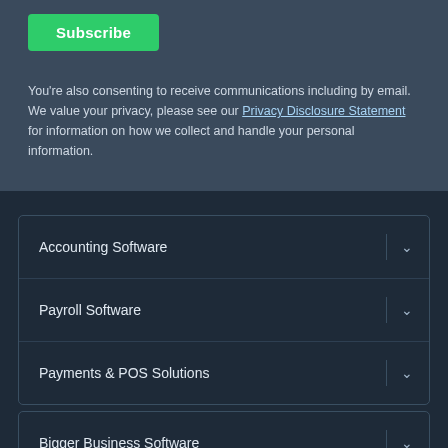Subscribe
You're also consenting to receive communications including by email. We value your privacy, please see our Privacy Disclosure Statement for information on how we collect and handle your personal information.
Accounting Software
Payroll Software
Payments & POS Solutions
Bigger Business Software